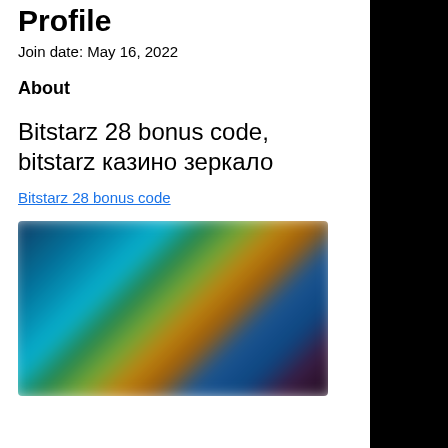Profile
Join date: May 16, 2022
About
Bitstarz 28 bonus code, bitstarz казино зеркало
Bitstarz 28 bonus code
[Figure (photo): Blurred screenshot of the Bitstarz casino website interface showing game thumbnails with colorful characters and game slots.]